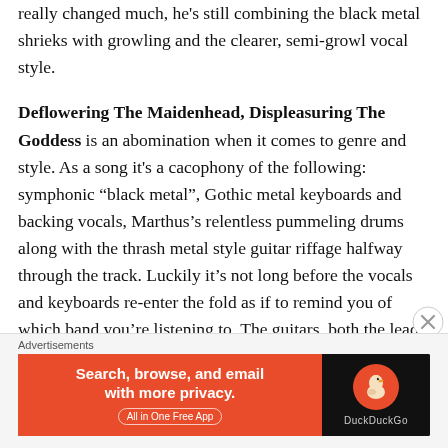really changed much, he's still combining the black metal shrieks with growling and the clearer, semi-growl vocal style.
Deflowering The Maidenhead, Displeasuring The Goddess is an abomination when it comes to genre and style. As a song it's a cacophony of the following: symphonic “black metal”, Gothic metal keyboards and backing vocals, Marthus’s relentless pummeling drums along with the thrash metal style guitar riffage halfway through the track. Luckily it’s not long before the vocals and keyboards re-enter the fold as if to remind you of which band you’re listening to. The guitars, both the lead, rhythm and the bass, really come into the spotlight on
Advertisements
[Figure (other): DuckDuckGo advertisement banner: orange left panel with text 'Search, browse, and email with more privacy. All in One Free App' and dark right panel with DuckDuckGo logo and name.]